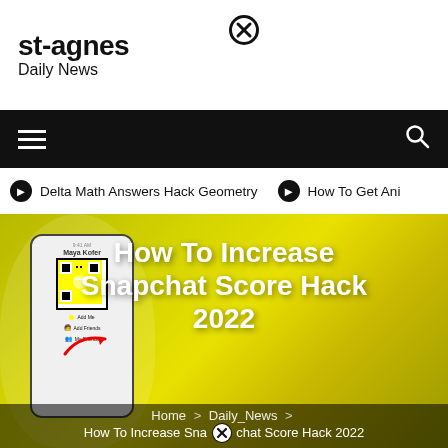st-agnes
Daily News
[Figure (screenshot): Navigation bar with hamburger menu on left and search icon on right, black background]
Delta Math Answers Hack Geometry   How To Get Ani
[Figure (photo): Hero image showing Snapchat score hack 2022 article header with phone screenshot and yellow comic-style background text]
How To Increase Snapchat Score Hack 2022
Home > Daily_News > How To Increase Snapchat Score Hack 2022